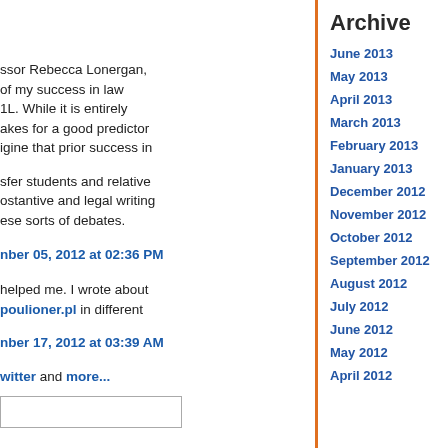ssor Rebecca Lonergan, of my success in law 1L. While it is entirely akes for a good predictor igine that prior success in
sfer students and relative ostantive and legal writing ese sorts of debates.
nber 05, 2012 at 02:36 PM
helped me. I wrote about poulioner.pl in different
nber 17, 2012 at 03:39 AM
witter and more...
Archive
June 2013
May 2013
April 2013
March 2013
February 2013
January 2013
December 2012
November 2012
October 2012
September 2012
August 2012
July 2012
June 2012
May 2012
April 2012